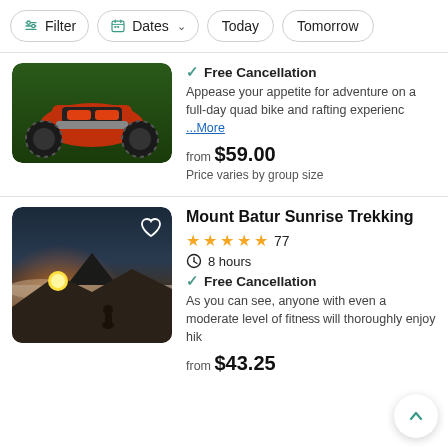Filter  Dates  Today  Tomorrow
[Figure (photo): Partial view of a quad bike / ATV from the front, red and black, outdoors with greenery]
✓ Free Cancellation
Appease your appetite for adventure on a full-day quad bike and rafting experienc ...More
from $59.00
Price varies by group size
[Figure (photo): Sunrise view from Mount Batur summit, silhouette of a person looking at the glowing horizon, clouds below]
Mount Batur Sunrise Trekking
★★★★★ 77
🕐 8 hours
✓ Free Cancellation
As you can see, anyone with even a moderate level of fitness will thoroughly enjoy hik...
from $43.25